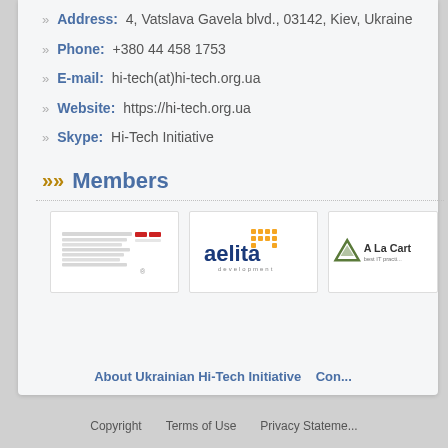Address: 4, Vatslava Gavela blvd., 03142, Kiev, Ukraine
Phone: +380 44 458 1753
E-mail: hi-tech(at)hi-tech.org.ua
Website: https://hi-tech.org.ua
Skype: Hi-Tech Initiative
Members
[Figure (logo): VI company logo - grey horizontal lines with red accent]
[Figure (logo): aelita development logo - orange dots grid with blue text]
[Figure (logo): A La Carte logo - triangle icon with text]
About Ukrainian Hi-Tech Initiative   Con...
Copyright   Terms of Use   Privacy Statement